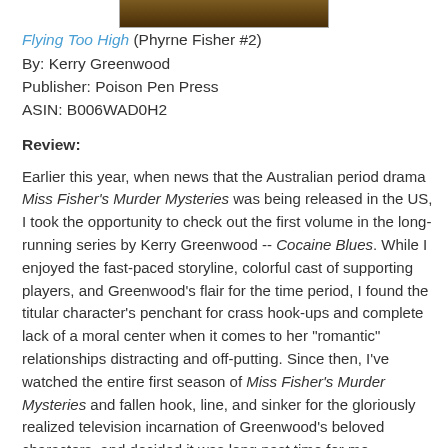[Figure (photo): Partial book cover image at top of page]
Flying Too High (Phyrne Fisher #2)
By: Kerry Greenwood
Publisher: Poison Pen Press
ASIN: B006WAD0H2
Review:
Earlier this year, when news that the Australian period drama Miss Fisher's Murder Mysteries was being released in the US, I took the opportunity to check out the first volume in the long-running series by Kerry Greenwood -- Cocaine Blues. While I enjoyed the fast-paced storyline, colorful cast of supporting players, and Greenwood's flair for the time period, I found the titular character's penchant for crass hook-ups and complete lack of a moral center when it comes to her "romantic" relationships distracting and off-putting. Since then, I've watched the entire first season of Miss Fisher's Murder Mysteries and fallen hook, line, and sinker for the gloriously realized television incarnation of Greenwood's beloved characters, and decided it was long past time for me